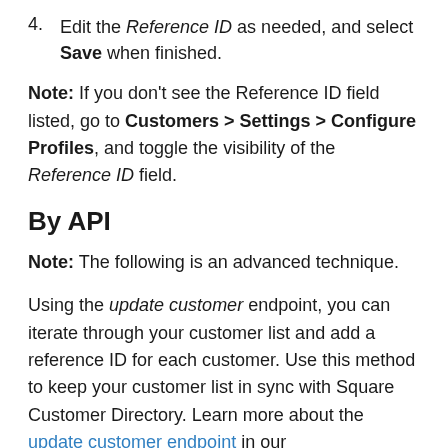4. Edit the Reference ID as needed, and select Save when finished.
Note: If you don't see the Reference ID field listed, go to Customers > Settings > Configure Profiles, and toggle the visibility of the Reference ID field.
By API
Note: The following is an advanced technique.
Using the update customer endpoint, you can iterate through your customer list and add a reference ID for each customer. Use this method to keep your customer list in sync with Square Customer Directory. Learn more about the update customer endpoint in our